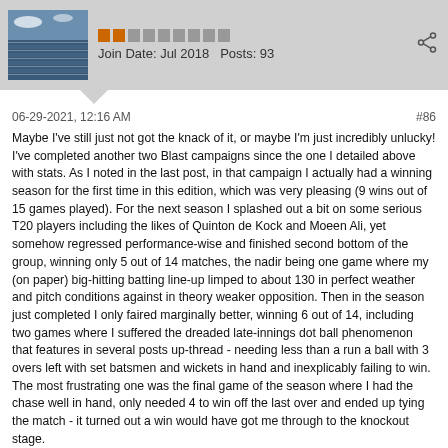Join Date: Jul 2018   Posts: 93
06-29-2021, 12:16 AM   #86
Maybe I've still just not got the knack of it, or maybe I'm just incredibly unlucky! I've completed another two Blast campaigns since the one I detailed above with stats. As I noted in the last post, in that campaign I actually had a winning season for the first time in this edition, which was very pleasing (9 wins out of 15 games played). For the next season I splashed out a bit on some serious T20 players including the likes of Quinton de Kock and Moeen Ali, yet somehow regressed performance-wise and finished second bottom of the group, winning only 5 out of 14 matches, the nadir being one game where my (on paper) big-hitting batting line-up limped to about 130 in perfect weather and pitch conditions against in theory weaker opposition. Then in the season just completed I only faired marginally better, winning 6 out of 14, including two games where I suffered the dreaded late-innings dot ball phenomenon that features in several posts up-thread - needing less than a run a ball with 3 overs left with set batsmen and wickets in hand and inexplicably failing to win. The most frustrating one was the final game of the season where I had the chase well in hand, only needed 4 to win off the last over and ended up tying the match - it turned out a win would have got me through to the knockout stage.
Again in these incredibly frustrating seasons it has been the batting that has massively let me down. I'm not too bad with T20 bowling now - the opposition rarely seem to really get away from me. But even with some big T20 names in my team I still can't seem to get the batting going. Feel like I've read about every bit of advice on this forum about T20 batting tactics but absolutely nothing seems to work for me! One approach that does seem to have